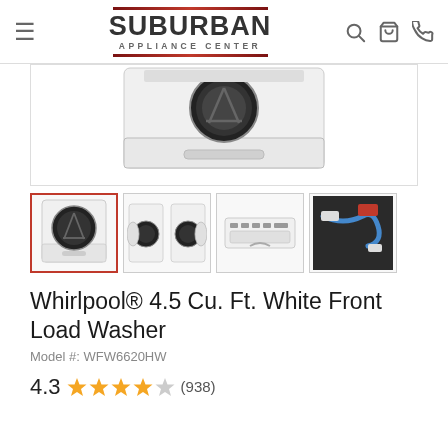Suburban Appliance Center
[Figure (photo): Main product image of Whirlpool front load washer, white, with pedestal drawer, partially cropped]
[Figure (photo): Thumbnail 1 (selected): Front view of Whirlpool white front load washer]
[Figure (photo): Thumbnail 2: Two Whirlpool washers side by side with doors open]
[Figure (photo): Thumbnail 3: Close-up of control panel]
[Figure (photo): Thumbnail 4: Interior/drawer detail with blue hose]
Whirlpool® 4.5 Cu. Ft. White Front Load Washer
Model #: WFW6620HW
4.3 ★★★★☆ (938)